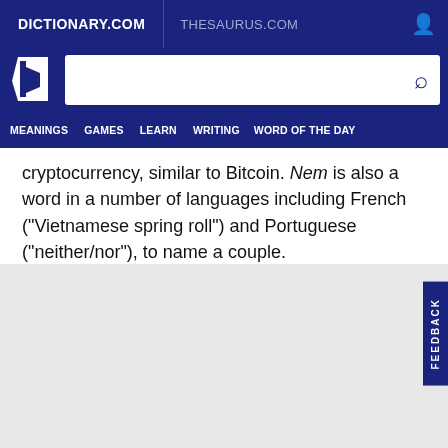DICTIONARY.COM | THESAURUS.COM
[Figure (screenshot): Dictionary.com logo with search bar]
MEANINGS  GAMES  LEARN  WRITING  WORD OF THE DAY
cryptocurrency, similar to Bitcoin. Nem is also a word in a number of languages including French (“Vietnamese spring roll”) and Portuguese (“neither/nor”), to name a couple.
[Figure (illustration): Facebook and Twitter social share icons]
FEEDBACK